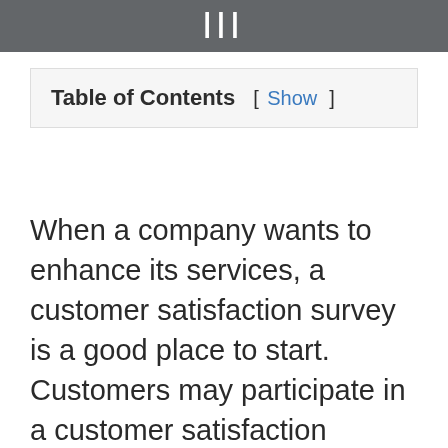|||
Table of Contents [ Show ]
When a company wants to enhance its services, a customer satisfaction survey is a good place to start. Customers may participate in a customer satisfaction survey at www.telldunkinbaskin.com, which is hosted by Dunkin'